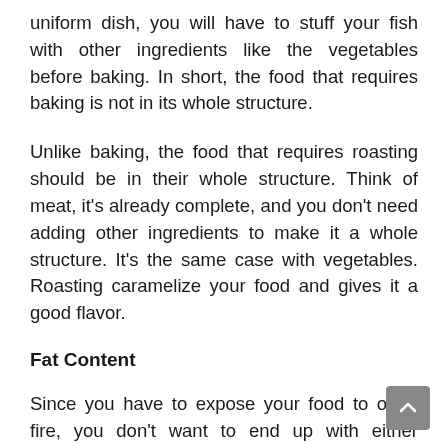uniform dish, you will have to stuff your fish with other ingredients like the vegetables before baking. In short, the food that requires baking is not in its whole structure.
Unlike baking, the food that requires roasting should be in their whole structure. Think of meat, it's already complete, and you don't need adding other ingredients to make it a whole structure. It's the same case with vegetables. Roasting caramelize your food and gives it a good flavor.
Fat Content
Since you have to expose your food to open fire, you don't want to end up with either overcooked or burnt food. To avoid that, first, brush some